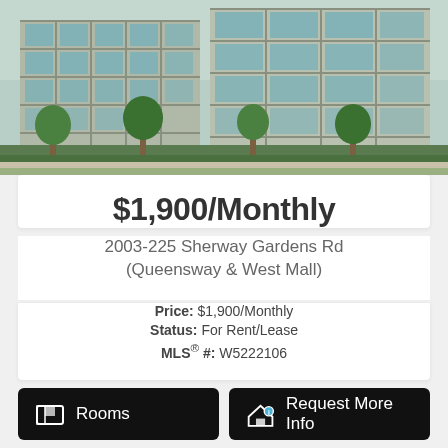[Figure (photo): Exterior photo of a modern glass and stone multi-story residential/commercial building with trees and landscaping in front]
$1,900/Monthly
2003-225 Sherway Gardens Rd (Queensway & West Mall)
Price: $1,900/Monthly
Status: For Rent/Lease
MLS® #: W5222106
Rooms
Request More Info
Details
Photos